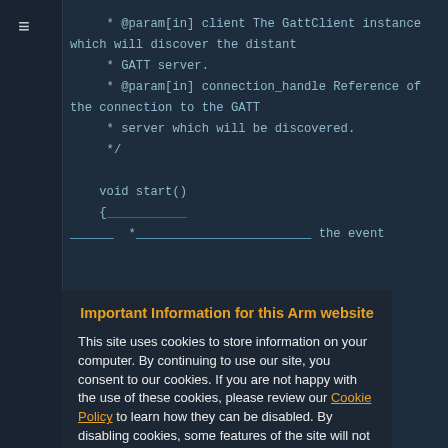[Figure (screenshot): Code editor screenshot showing C++ comment documentation block with @param[in] annotations for client and connection_handle parameters, followed by a void start() function declaration. A cookie consent modal overlay is displayed on top of the code, with title 'Important Information for this Arm website', body text about cookies, a 'Cookie Policy' link, and an 'Accept and hide this message' button.]